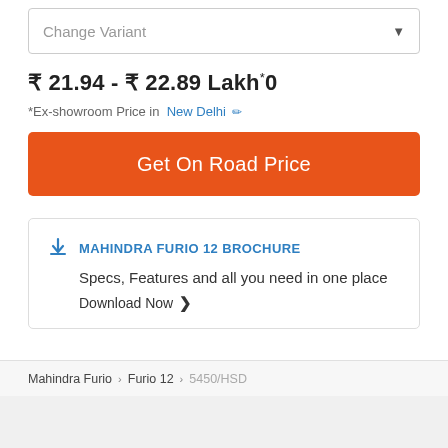Change Variant
₹ 21.94 - ₹ 22.89 Lakh*0
*Ex-showroom Price in New Delhi
Get On Road Price
MAHINDRA FURIO 12 BROCHURE
Specs, Features and all you need in one place
Download Now ›
Price is for informational purposes only and the same may be subject to change. For details, please go through the T&C.
Mahindra Furio › Furio 12 › 5450/HSD